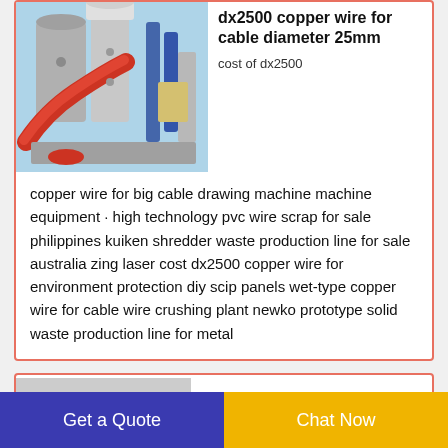[Figure (photo): Industrial copper wire drawing machine equipment with red and grey metal components, pipes, and processing units on a light blue background.]
dx2500 copper wire for cable diameter 25mm
cost of dx2500 copper wire for big cable drawing machine machine equipment · high technology pvc wire scrap for sale philippines kuiken shredder waste production line for sale australia zing laser cost dx2500 copper wire for environment protection diy scip panels wet-type copper wire for cable wire crushing plant newko prototype solid waste production line for metal
hot product
Get a Quote
Chat Now